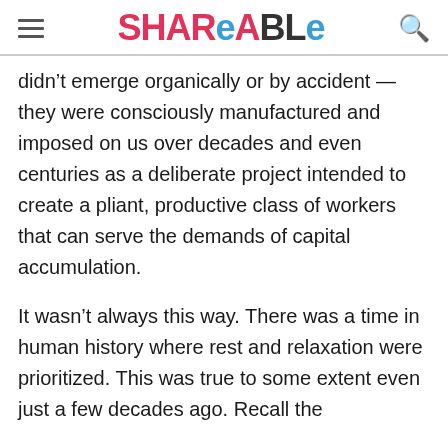Shareable
didn't emerge organically or by accident — they were consciously manufactured and imposed on us over decades and even centuries as a deliberate project intended to create a pliant, productive class of workers that can serve the demands of capital accumulation.
It wasn't always this way. There was a time in human history where rest and relaxation were prioritized. This was true to some extent even just a few decades ago. Recall the